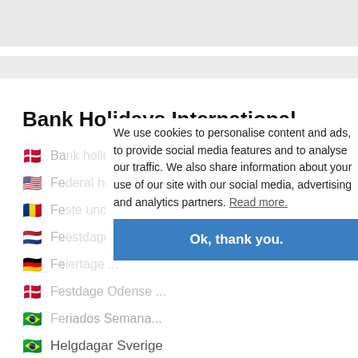Bank Holidays International
Bank holidays ...
Federal holidays ...
Feste und Feiertage ...
Feestdagen ...
Feiertage ...
Festdage Odense ...
Feriados Semana ...
Helgdagar Sverige
Helligdage Danmark
We use cookies to personalise content and ads, to provide social media features and to analyse our traffic. We also share information about your use of our site with our social media, advertising and analytics partners. Read more.
Ok, thank you.